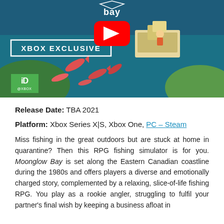[Figure (screenshot): Moonglow Bay game screenshot showing Xbox Exclusive banner with YouTube play button overlay, ID@Xbox badge in green, colorful fishing game scene with boat and fish in water.]
Release Date: TBA 2021
Platform: Xbox Series X|S, Xbox One, PC – Steam
Miss fishing in the great outdoors but are stuck at home in quarantine? Then this RPG fishing simulator is for you. Moonglow Bay is set along the Eastern Canadian coastline during the 1980s and offers players a diverse and emotionally charged story, complemented by a relaxing, slice-of-life fishing RPG. You play as a rookie angler, struggling to fulfil your partner's final wish by keeping a business afloat in